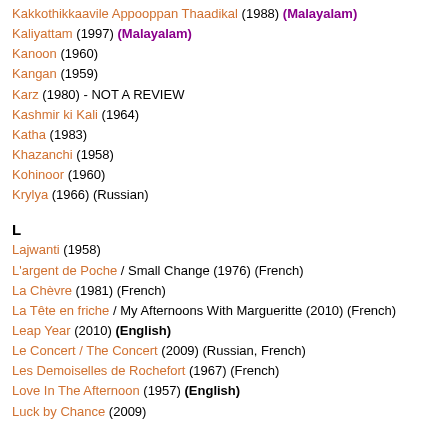Kakkothikkaavile Appooppan Thaadikal (1988) (Malayalam)
Kaliyattam (1997) (Malayalam)
Kanoon (1960)
Kangan (1959)
Karz (1980) - NOT A REVIEW
Kashmir ki Kali (1964)
Katha (1983)
Khazanchi (1958)
Kohinoor (1960)
Krylya (1966) (Russian)
L
Lajwanti (1958)
L'argent de Poche / Small Change (1976) (French)
La Chèvre (1981) (French)
La Tête en friche / My Afternoons With Margueritte (2010) (French)
Leap Year (2010) (English)
Le Concert / The Concert (2009) (Russian, French)
Les Demoiselles de Rochefort (1967) (French)
Love In The Afternoon (1957) (English)
Luck by Chance (2009)